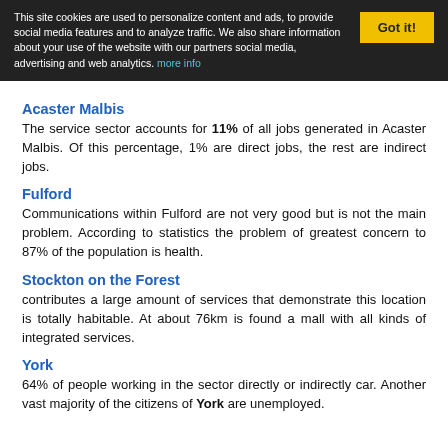This site cookies are used to personalize content and ads, to provide social media features and to analyze traffic. We also share information about your use of the website with our partners social media, advertising and web analytics. more info
Acaster Malbis
The service sector accounts for 11% of all jobs generated in Acaster Malbis. Of this percentage, 1% are direct jobs, the rest are indirect jobs.
Fulford
Communications within Fulford are not very good but is not the main problem. According to statistics the problem of greatest concern to 87% of the population is health.
Stockton on the Forest
contributes a large amount of services that demonstrate this location is totally habitable. At about 76km is found a mall with all kinds of integrated services.
York
64% of people working in the sector directly or indirectly car. Another vast majority of the citizens of York are unemployed.